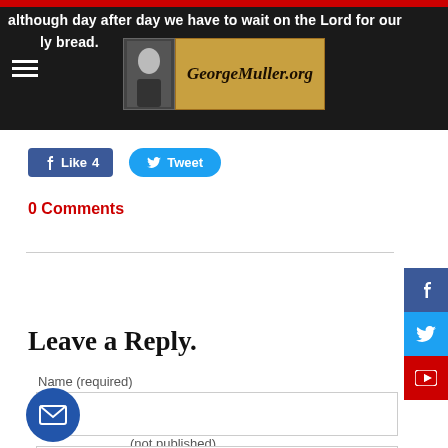although day after day we have to wait on the Lord for our daily bread.
[Figure (logo): GeorgeMuller.org logo with portrait photo and stylized text on tan background]
Like 4
Tweet
0 Comments
Leave a Reply.
Name (required)
(not published)